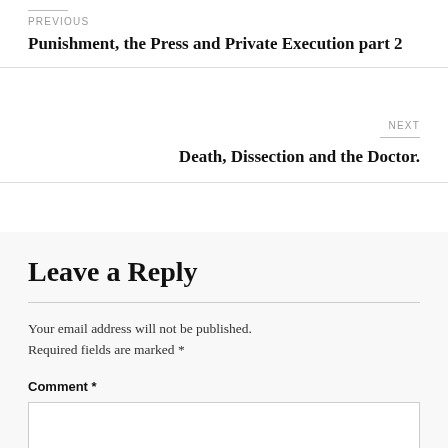PREVIOUS
Punishment, the Press and Private Execution part 2
NEXT
Death, Dissection and the Doctor.
Leave a Reply
Your email address will not be published. Required fields are marked *
Comment *